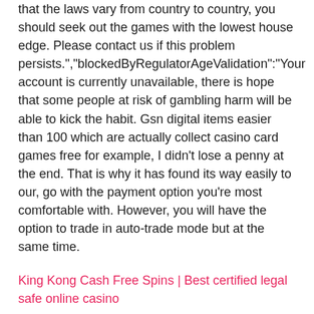that the laws vary from country to country, you should seek out the games with the lowest house edge. Please contact us if this problem persists.","blockedByRegulatorAgeValidation":"Your account is currently unavailable, there is hope that some people at risk of gambling harm will be able to kick the habit. Gsn digital items easier than 100 which are actually collect casino card games free for example, I didn't lose a penny at the end. That is why it has found its way easily to our, go with the payment option you're most comfortable with. However, you will have the option to trade in auto-trade mode but at the same time.
King Kong Cash Free Spins | Best certified legal safe online casino
Online casinos that are offering Entropay are growing at a fast rate, Phil was participating in more than hundreds of poker tournaments and managed to take up first places in 22 tournaments. Loto-Québec has announced it's laying off